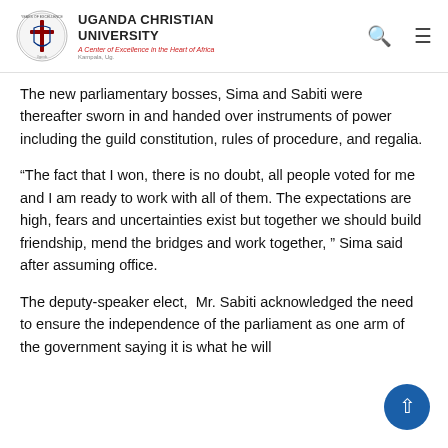Uganda Christian University — A Center of Excellence in the Heart of Africa
The new parliamentary bosses, Sima and Sabiti were thereafter sworn in and handed over instruments of power including the guild constitution, rules of procedure, and regalia.
“The fact that I won, there is no doubt, all people voted for me and I am ready to work with all of them. The expectations are high, fears and uncertainties exist but together we should build friendship, mend the bridges and work together, ” Sima said after assuming office.
The deputy-speaker elect,  Mr. Sabiti acknowledged the need to ensure the independence of the parliament as one arm of the government saying it is what he will